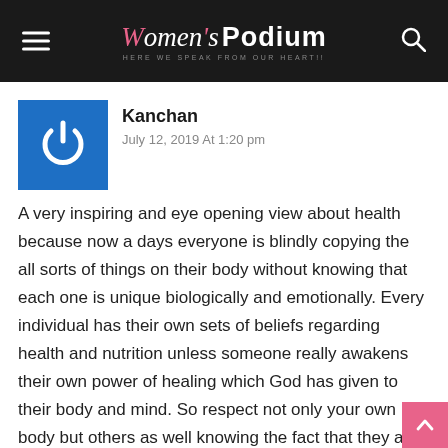Women's Podium – HERE WE SPEAK FROM OUR HEART!!
[Figure (logo): User avatar with power icon on blue square background]
Kanchan
July 12, 2019 At 1:20 pm
A very inspiring and eye opening view about health because now a days everyone is blindly copying the all sorts of things on their body without knowing that each one is unique biologically and emotionally. Every individual has their own sets of beliefs regarding health and nutrition unless someone really awakens their own power of healing which God has given to their body and mind. So respect not only your own body but others as well knowing the fact that they are different from you.